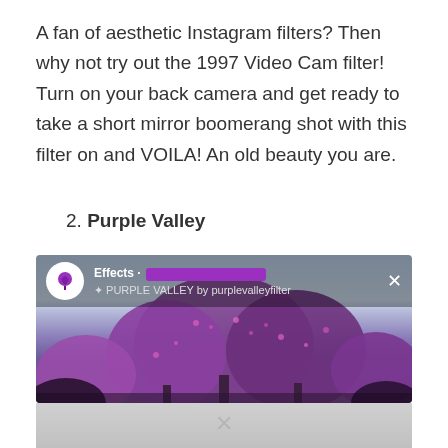A fan of aesthetic Instagram filters? Then why not try out the 1997 Video Cam filter! Turn on your back camera and get ready to take a short mirror boomerang shot with this filter on and VOILA! An old beauty you are.
2. Purple Valley
[Figure (screenshot): Instagram camera UI showing the Purple Valley filter applied to a scene of pink/purple flowering trees against a sky background. Overlay shows Effects label with purple bar and 'PURPLE VALLEY by purplevalleyfilter' text. An X close button is visible in the top right.]
[Figure (screenshot): Bottom portion of a second Instagram camera screenshot, mostly gray/faded with an X watermark visible.]